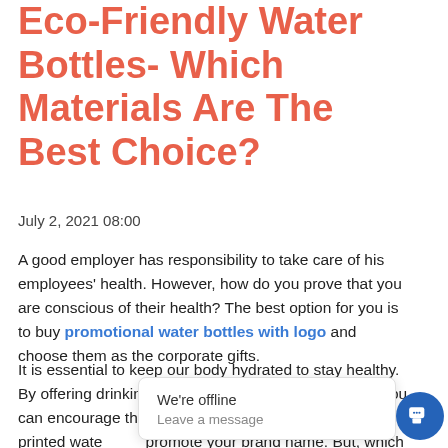Eco-Friendly Water Bottles- Which Materials Are The Best Choice?
July 2, 2021 08:00
A good employer has responsibility to take care of his employees' health. However, how do you prove that you are conscious of their health? The best option for you is to buy promotional water bottles with logo and choose them as the corporate gifts.
It is essential to keep our body hydrated to stay healthy. By offering drinking water bottles to your employees, you can encourage th... of water eve... printed wate... promote your brand name. But, which